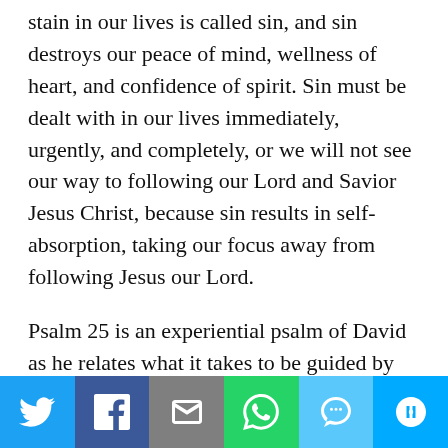stain in our lives is called sin, and sin destroys our peace of mind, wellness of heart, and confidence of spirit. Sin must be dealt with in our lives immediately, urgently, and completely, or we will not see our way to following our Lord and Savior Jesus Christ, because sin results in self-absorption, taking our focus away from following Jesus our Lord.
Psalm 25 is an experiential psalm of David as he relates what it takes to be guided by God in his paths and in his ways. David really desires to have intimacy in his relationship with his God, since you can see it seeping out of every verse; however, there is one big problem that blocks his walk and disturbs
Share bar: Twitter, Facebook, Email, WhatsApp, SMS, More